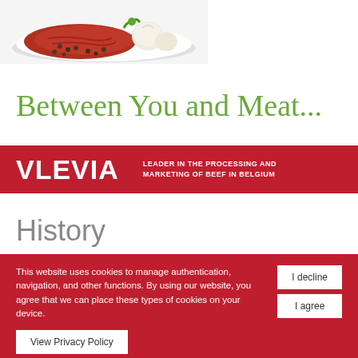[Figure (photo): Photo of raw beef steak with garlic and peppercorns on a white plate]
Between You and Meat...
VLEVIA  LEADER IN THE PROCESSING AND MARKETING OF BEEF IN BELGIUM
History
This website uses cookies to manage authentication, navigation, and other functions. By using our website, you agree that we can place these types of cookies on your device.
View Privacy Policy